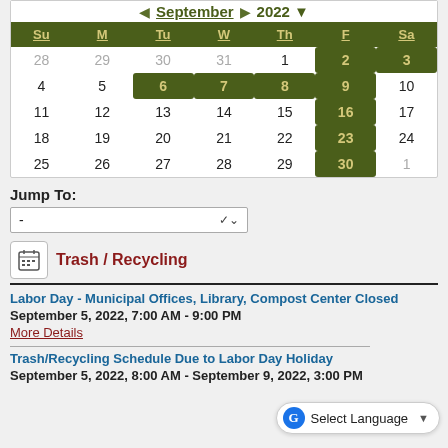[Figure (other): September 2022 calendar with highlighted dates: 2, 3, 6, 7, 8, 9, 16, 23, 30 shown in dark olive green with gold text. Other dates shown in black on white. Previous month dates (28-31) and next month date (1) shown in grey.]
Jump To:
[Figure (other): Dropdown select box with a dash '-' and a down arrow, labeled Jump To]
[Figure (other): Calendar icon - small square with calendar lines]
Trash / Recycling
Labor Day - Municipal Offices, Library, Compost Center Closed
September 5, 2022, 7:00 AM - 9:00 PM
More Details
Trash/Recycling Schedule Due to Labor Day Holiday
September 5, 2022, 8:00 AM - September 9, 2022, 3:00 PM
Select Language